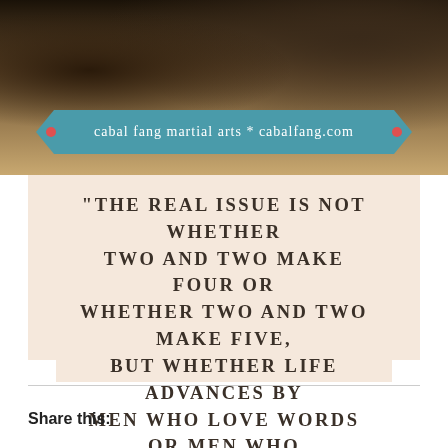[Figure (photo): Photo of people at top of image with teal ribbon banner overlay reading 'cabal fang martial arts * cabalfang.com']
"The real issue is not whether two and two make four or whether two and two make five, but whether life advances by men who love words or men who love living."
–Colin Wilson, The Outsider (1956)
Share this: